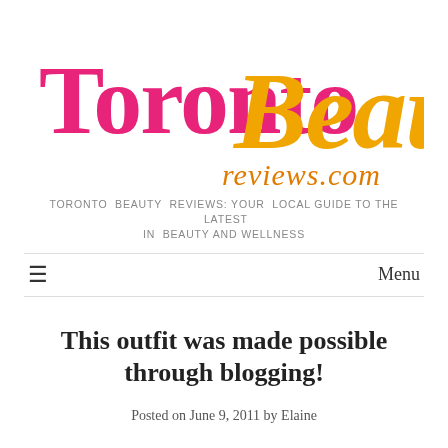[Figure (logo): Toronto Beauty Reviews logo: 'Toronto' in pink and 'Beauty' in orange cursive script, with 'reviews.com' in orange below]
TORONTO BEAUTY REVIEWS: YOUR LOCAL GUIDE TO THE LATEST IN BEAUTY AND WELLNESS
Menu
This outfit was made possible through blogging!
Posted on June 9, 2011 by Elaine